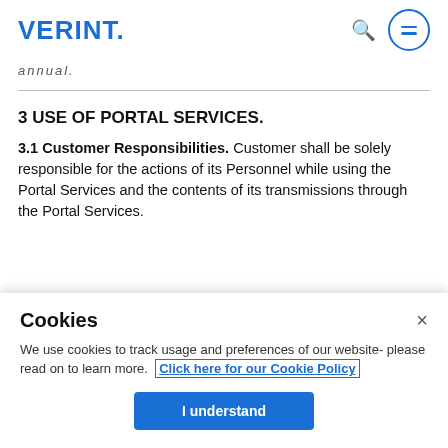VERINT.
annual.
3 USE OF PORTAL SERVICES.
3.1 Customer Responsibilities. Customer shall be solely responsible for the actions of its Personnel while using the Portal Services and the contents of its transmissions through the Portal Services.
Cookies
We use cookies to track usage and preferences of our website- please read on to learn more. Click here for our Cookie Policy
I understand